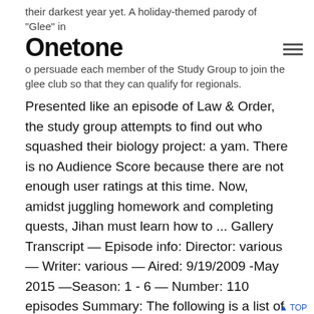their darkest year yet. A holiday-themed parody of "Glee" in
Onetone
o persuade each member of the Study Group to join the glee club so that they can qualify for regionals.
Presented like an episode of Law & Order, the study group attempts to find out who squashed their biology project: a yam. There is no Audience Score because there are not enough user ratings at this time. Now, amidst juggling homework and completing quests, Jihan must learn how to ... Gallery Transcript — Episode info: Director: various — Writer: various — Aired: 9/19/2009 -May 2015 —Season: 1 - 6 — Number: 110 episodes Summary: The following is a list of Community episodes. Dean Pelton and Annie try to land a "whale" student while Jeff is assigned to keep Pierce occupied. Jihan Han is your typical high school student-- minus the fact the he's acquired the special ability to view the world around him as a video-game. In a homage to Law & Order, the study group investigate a crime when someone sabotages their science experiment. Community Season 3 Episode 17 ,Thursday 4/26/2012 Youtube VIDEO On